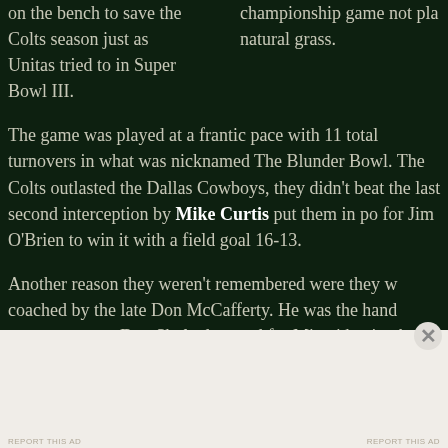on the bench to save the Colts season just as Unitas tried to in Super Bowl III.

The game was played at a frantic pace with 11 total turnovers in what was nicknamed The Blunder Bowl. The Colts outlasted the Dallas Cowboys, they didn't beat them. A last second interception by Mike Curtis put them in position for Jim O'Brien to win it with a field goal 16-13.

Another reason they weren't remembered were they were coached by the late Don McCafferty. He was the hand picked successor once Don Shula departed for Miami having been the long time Offensive Coordinator. By the time w...
championship game not played on natural grass.
Advertisements